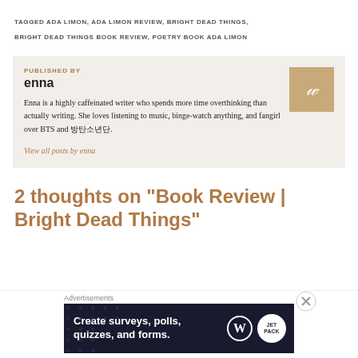TAGGED ADA LIMON, ADA LIMON REVIEW, BRIGHT DEAD THINGS, BRIGHT DEAD THINGS BOOK REVIEW, POETRY BOOK ADA LIMON
PUBLISHED BY
enna
Enna is a highly caffeinated writer who spends more time overthinking than actually writing. She loves listening to music, binge-watch anything, and fangirl over BTS and 방탄소년단.
View all posts by enna
2 thoughts on “Book Review | Bright Dead Things”
Advertisements
[Figure (screenshot): Advertisement banner: dark navy background with dot pattern, text 'Create surveys, polls, quizzes, and forms.' with WordPress and Jetpack logos on the right]